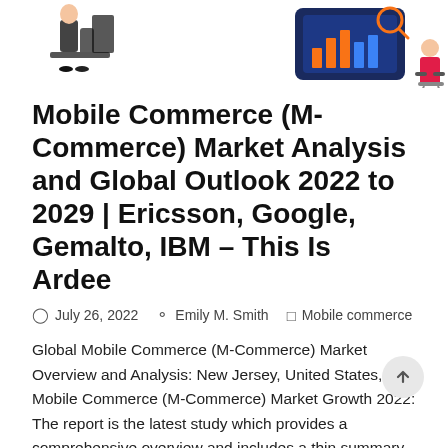[Figure (illustration): Decorative illustration showing people working at computers and desks, with analytics/data visualization imagery in blue and orange tones, cropped at top of page]
Mobile Commerce (M-Commerce) Market Analysis and Global Outlook 2022 to 2029 | Ericsson, Google, Gemalto, IBM – This Is Ardee
July 26, 2022    Emily M. Smith    Mobile commerce
Global Mobile Commerce (M-Commerce) Market Overview and Analysis: New Jersey, United States, – Mobile Commerce (M-Commerce) Market Growth 2022: The report is the latest study which provides a comprehensive overview and includes a thin summary of all market-related aspects. The…
Read More